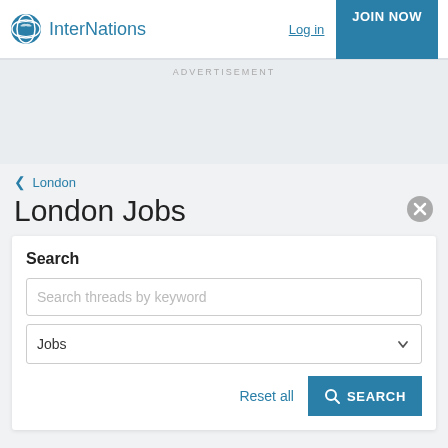InterNations — Log in | JOIN NOW
ADVERTISEMENT
< London
London Jobs
Search
Search threads by keyword
Jobs
Reset all | SEARCH